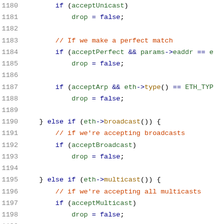[Figure (screenshot): Source code listing showing C++ code lines 1180-1201 with syntax highlighting. Keywords in blue, comments in dark red/brown, identifiers in dark green, function calls in gold/brown.]